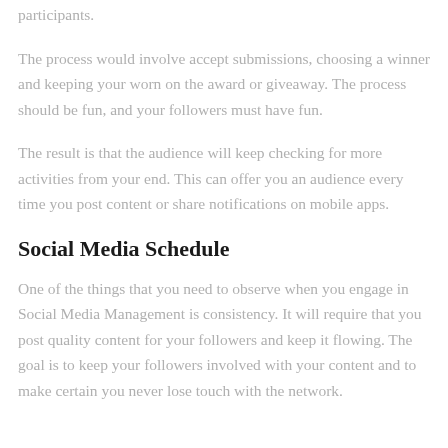participants.
The process would involve accept submissions, choosing a winner and keeping your worn on the award or giveaway. The process should be fun, and your followers must have fun.
The result is that the audience will keep checking for more activities from your end. This can offer you an audience every time you post content or share notifications on mobile apps.
Social Media Schedule
One of the things that you need to observe when you engage in Social Media Management is consistency. It will require that you post quality content for your followers and keep it flowing. The goal is to keep your followers involved with your content and to make certain you never lose touch with the network.